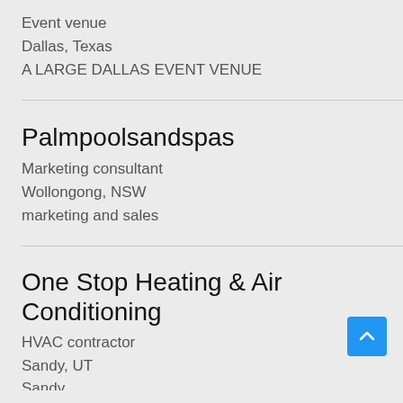Event venue
Dallas, Texas
A LARGE DALLAS EVENT VENUE
Palmpoolsandspas
Marketing consultant
Wollongong, NSW
marketing and sales
One Stop Heating & Air Conditioning
HVAC contractor
Sandy, UT
Sandy